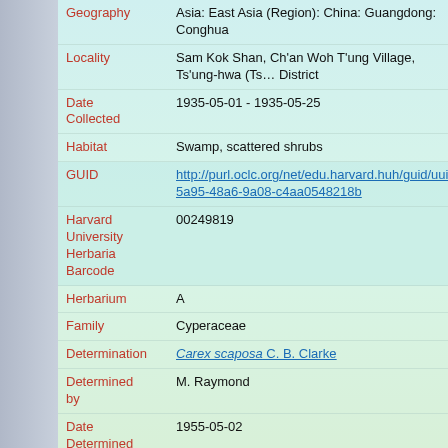| Field | Value |
| --- | --- |
| Geography | Asia: East Asia (Region): China: Guangdong: Conghua |
| Locality | Sam Kok Shan, Ch'an Woh T'ung Village, Ts'ung-hwa (Ts... District |
| Date Collected | 1935-05-01 - 1935-05-25 |
| Habitat | Swamp, scattered shrubs |
| GUID | http://purl.oclc.org/net/edu.harvard.huh/guid/uuid/651...5a95-48a6-9a08-c4aa0548218b |
| Harvard University Herbaria Barcode | 00249819 |
| Herbarium | A |
| Family | Cyperaceae |
| Determination | Carex scaposa C. B. Clarke |
| Determined by | M. Raymond |
| Date Determined | 1955-05-02 |
| Determination Remarks | [is filed under name] [is Current name] |
| Annotation Text | M. R. |